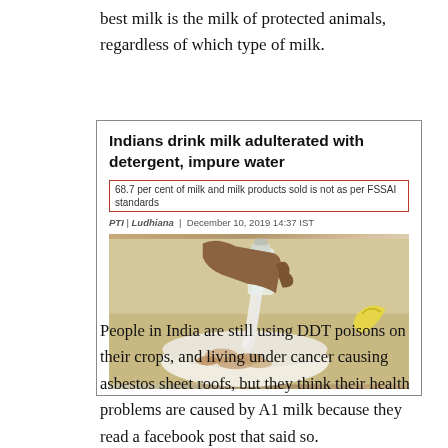best milk is the milk of protected animals, regardless of which type of milk.
[Figure (screenshot): Screenshot of a news article titled 'Indians drink milk adulterated with detergent, impure water' with subheadline '68.7 per cent of milk and milk products sold is not as per FSSAI standards', byline 'PTI | Ludhiana | December 10, 2019 14:37 IST', and a photo of a hand pouring milk from a glass bottle into a bowl of cereal.]
People in India are still using DDT poisons on their crops, and living under cancer causing asbestos sheet roofs, but they think their health problems are caused by A1 milk because they read a facebook post that said so.